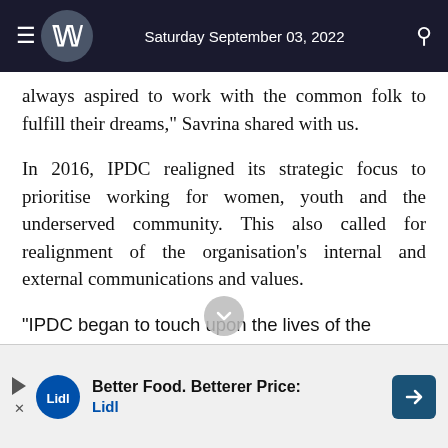Saturday September 03, 2022
always aspired to work with the common folk to fulfill their dreams," Savrina shared with us.
In 2016, IPDC realigned its strategic focus to prioritise working for women, youth and the underserved community. This also called for realignment of the organisation's internal and external communications and values.
"IPDC began to touch upon the lives of the customers in many ways, boosting our retail portfolio. We came up w    t-of-the box ideas.